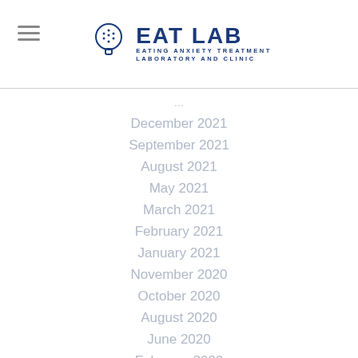EAT LAB — Eating Anxiety Treatment Laboratory and Clinic
December 2021
September 2021
August 2021
May 2021
March 2021
February 2021
January 2021
November 2020
October 2020
August 2020
June 2020
February 2020
January 2020
October 2019
September 2019
July 2019
May 2019
January 2019